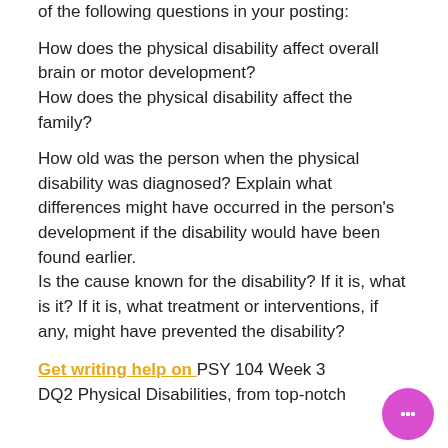of the following questions in your posting:
How does the physical disability affect overall brain or motor development?
How does the physical disability affect the family?
How old was the person when the physical disability was diagnosed? Explain what differences might have occurred in the person's development if the disability would have been found earlier.
Is the cause known for the disability? If it is, what is it? If it is, what treatment or interventions, if any, might have prevented the disability?
Get writing help on PSY 104 Week 3 DQ2 Physical Disabilities, from top-notch